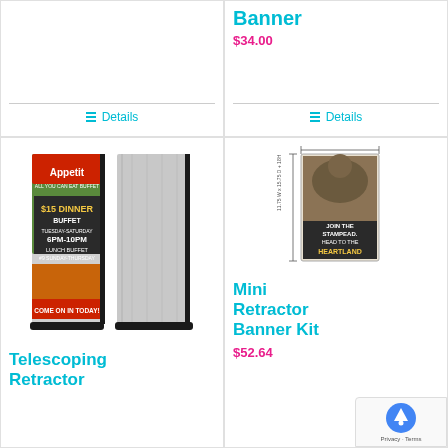[Figure (photo): Top-left product card: partially visible, no image shown, with Details link at bottom]
Details
Banner
$34.00
Details
[Figure (photo): Bottom-left: Telescoping retractor banner display with Appetit restaurant graphic, double-sided banner stand]
Telescoping Retractor
[Figure (photo): Bottom-right: Mini retractor banner kit shown with a stampede advertisement graphic, dimension lines visible]
Mini Retractor Banner Kit
$52.64